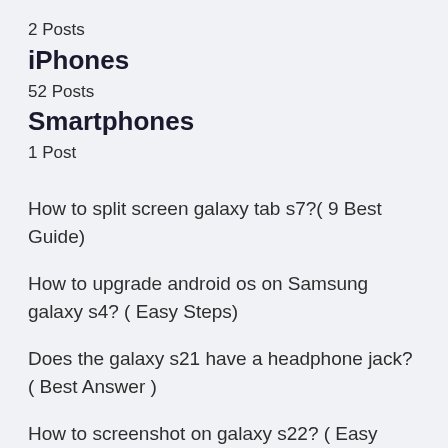2 Posts
iPhones
52 Posts
Smartphones
1 Post
How to split screen galaxy tab s7?( 9 Best Guide)
How to upgrade android os on Samsung galaxy s4? ( Easy Steps)
Does the galaxy s21 have a headphone jack? ( Best Answer )
How to screenshot on galaxy s22? ( Easy Ways)